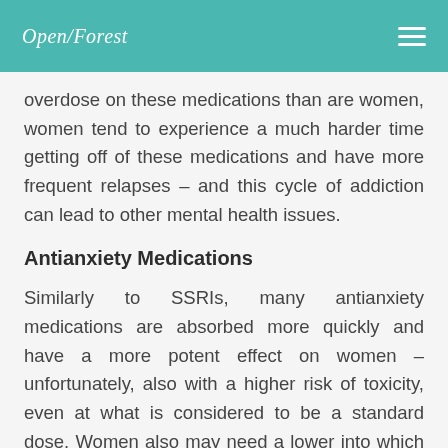Open Forest
overdose on these medications than are women, women tend to experience a much harder time getting off of these medications and have more frequent relapses – and this cycle of addiction can lead to other mental health issues.
Antianxiety Medications
Similarly to SSRIs, many antianxiety medications are absorbed more quickly and have a more potent effect on women – unfortunately, also with a higher risk of toxicity, even at what is considered to be a standard dose. Women also may need a lower into which to and more in